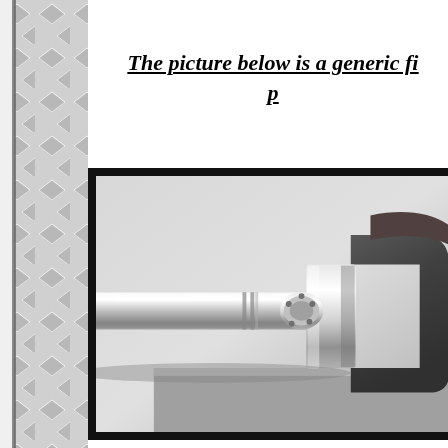The picture below is a generic fi... p...
[Figure (photo): Close-up photograph of a polished steel crankshaft showing the main journal, crank pin, and counterweights against a light gray background, displayed within a thick black border frame.]